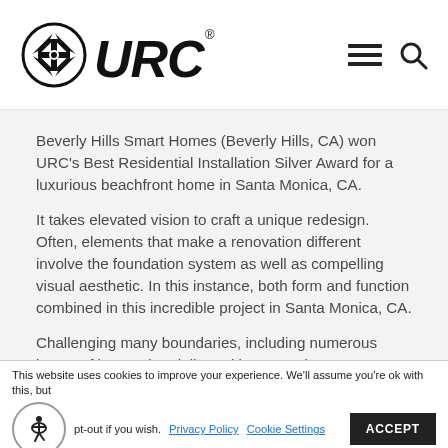URC logo with navigation menu and search icons
Beverly Hills Smart Homes (Beverly Hills, CA) won URC's Best Residential Installation Silver Award for a luxurious beachfront home in Santa Monica, CA.
It takes elevated vision to craft a unique redesign. Often, elements that make a renovation different involve the foundation system as well as compelling visual aesthetic. In this instance, both form and function combined in this incredible project in Santa Monica, CA.
Challenging many boundaries, including numerous layers of integration delivered in unusual manner, created a showcase project for the homeowner, renovation
This website uses cookies to improve your experience. We'll assume you're ok with this, but you can opt-out if you wish. Privacy Policy  Cookie Settings  ACCEPT